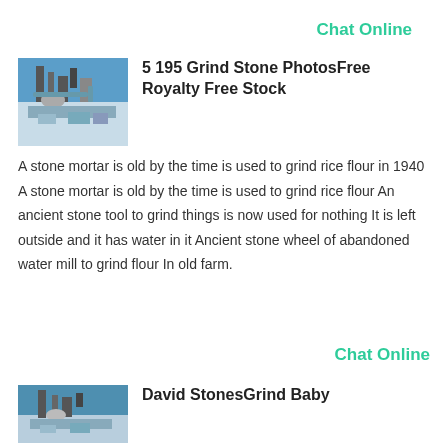Chat Online
[Figure (photo): Industrial machinery or equipment with blue sky background, grindstone-related stock photo]
5 195 Grind Stone PhotosFree Royalty Free Stock
A stone mortar is old by the time is used to grind rice flour in 1940 A stone mortar is old by the time is used to grind rice flour An ancient stone tool to grind things is now used for nothing It is left outside and it has water in it Ancient stone wheel of abandoned water mill to grind flour In old farm.
Chat Online
[Figure (photo): Industrial or stone grinding related photo thumbnail]
David StonesGrind Baby